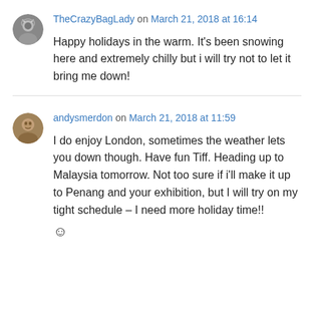TheCrazyBagLady on March 21, 2018 at 16:14
Happy holidays in the warm. It's been snowing here and extremely chilly but i will try not to let it bring me down!
andysmerdon on March 21, 2018 at 11:59
I do enjoy London, sometimes the weather lets you down though. Have fun Tiff. Heading up to Malaysia tomorrow. Not too sure if i'll make it up to Penang and your exhibition, but I will try on my tight schedule – I need more holiday time!! 😊